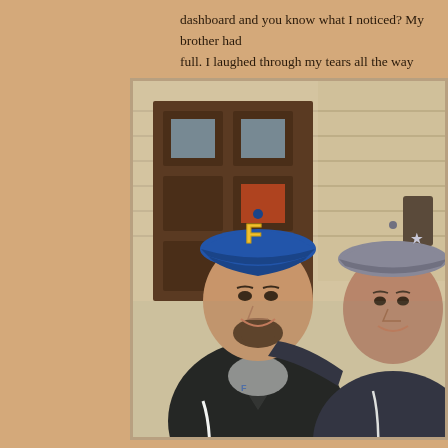dashboard and you know what I noticed?  My brother had full.  I laughed through my tears all the way home.
[Figure (photo): Two men posing together outdoors in front of a wooden building. The man on the left wears a blue baseball cap with 'F' on it and a black jacket over a grey shirt. The man on the right wears a grey baseball cap and a dark jacket. Both are smiling at the camera.]